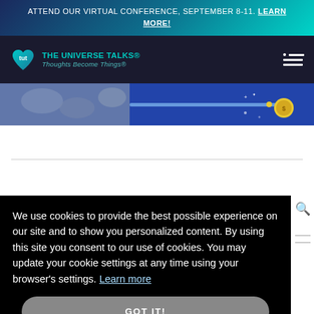ATTEND OUR VIRTUAL CONFERENCE, SEPTEMBER 8-11. LEARN MORE!
[Figure (logo): The Universe Talks logo with tut icon and tagline 'Thoughts Become Things']
[Figure (photo): Hero banner image with blue background, floral texture on left and decorative gold/yellow circular element on right]
We use cookies to provide the best possible experience on our site and to show you personalized content. By using this site you consent to our use of cookies. You may update your cookie settings at any time using your browser's settings. Learn more
GOT IT!